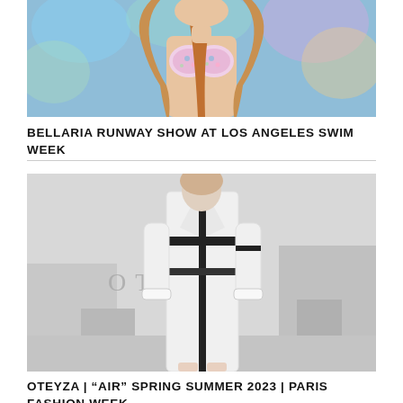[Figure (photo): Fashion runway photo showing a model wearing a floral/colorful bikini top at Los Angeles Swim Week, with colorful blurred background]
BELLARIA RUNWAY SHOW AT LOS ANGELES SWIM WEEK
[Figure (photo): Black and white fashion photo of a model wearing a long white coat with black vertical stripe harness details, with OTEYZA text visible in background]
OTEYZA | “AIR” SPRING SUMMER 2023 | PARIS FASHION WEEK